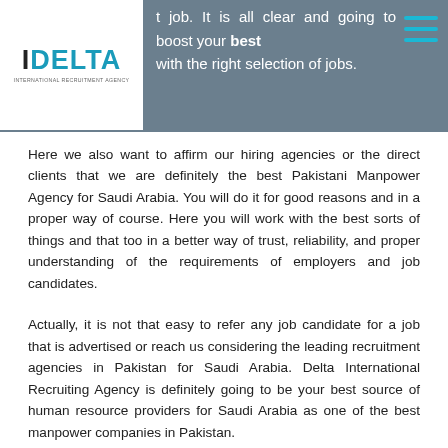t job. It is all clear and going to boost your best with the right selection of jobs.
[Figure (logo): Delta International Recruitment Agency logo — blue DELTA text with subtitle]
Here we also want to affirm our hiring agencies or the direct clients that we are definitely the best Pakistani Manpower Agency for Saudi Arabia. You will do it for good reasons and in a proper way of course. Here you will work with the best sorts of things and that too in a better way of trust, reliability, and proper understanding of the requirements of employers and job candidates.
Actually, it is not that easy to refer any job candidate for a job that is advertised or reach us considering the leading recruitment agencies in Pakistan for Saudi Arabia. Delta International Recruiting Agency is definitely going to be your best source of human resource providers for Saudi Arabia as one of the best manpower companies in Pakistan.
Even we are highly obliged to be the best collaborators of overseas recruitment agencies in Saudi Arabia. Delta